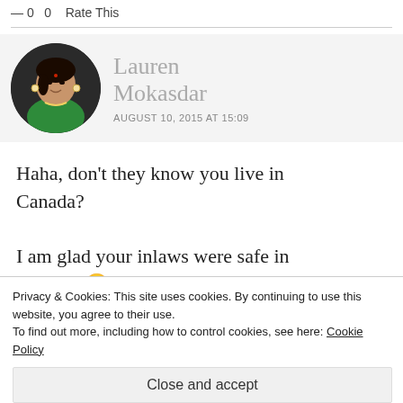— 0   0   Rate This
[Figure (photo): Circular profile photo of Lauren Mokasdar, a woman wearing a green top with jewelry]
Lauren Mokasdar
AUGUST 10, 2015 AT 15:09
Haha, don't they know you live in Canada?

I am glad your inlaws were safe in Europe! 😀 xx
Privacy & Cookies: This site uses cookies. By continuing to use this website, you agree to their use.
To find out more, including how to control cookies, see here: Cookie Policy
Close and accept